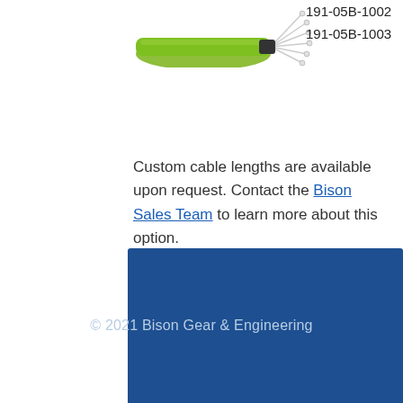[Figure (photo): Green fiber optic cable with white/silver connector ends fanning out]
| Part Number | Length |
| --- | --- |
| 191-05B-1002 | 3 Meters |
| 191-05B-1003 | 6 Meters |
Custom cable lengths are available upon request. Contact the Bison Sales Team to learn more about this option.
© 2021 Bison Gear & Engineering